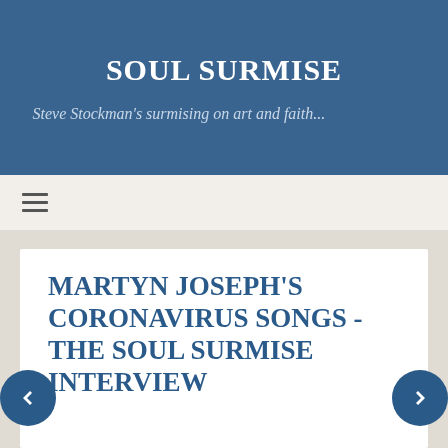SOUL SURMISE
Steve Stockman's surmising on art and faith...
[Figure (other): Hamburger menu icon (three horizontal lines)]
MARTYN JOSEPH'S CORONAVIRUS SONGS - THE SOUL SURMISE INTERVIEW